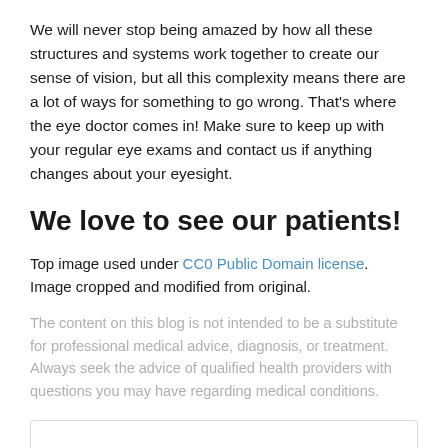We will never stop being amazed by how all these structures and systems work together to create our sense of vision, but all this complexity means there are a lot of ways for something to go wrong. That's where the eye doctor comes in! Make sure to keep up with your regular eye exams and contact us if anything changes about your eyesight.
We love to see our patients!
Top image used under CC0 Public Domain license. Image cropped and modified from original.
The content on this blog is not intended to be a substitute for professional medical advice, diagnosis, or treatment. Always seek the advice of qualified health providers with questions you may have regarding medical conditions.
Posted On: May 5, 2022 @ 3:36am